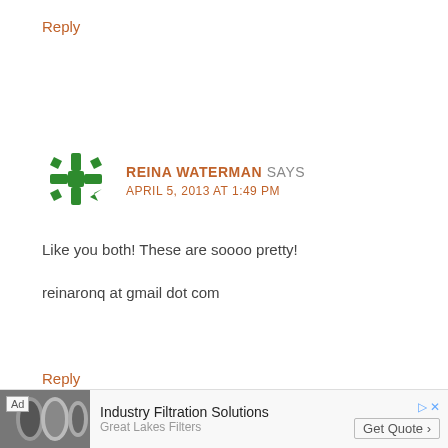Reply
[Figure (illustration): Green decorative snowflake/cross avatar icon for user Reina Waterman]
REINA WATERMAN SAYS
APRIL 5, 2013 AT 1:49 PM
Like you both! These are soooo pretty!
reinaronq at gmail dot com
Reply
[Figure (photo): Advertisement banner: Industry Filtration Solutions - Great Lakes Filters - Get Quote]